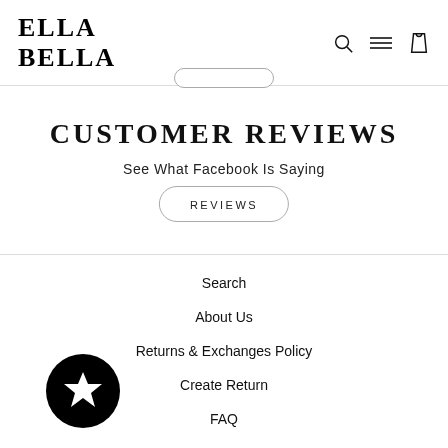ELLA BELLA
CUSTOMER REVIEWS
See What Facebook Is Saying
REVIEWS
Search
About Us
Returns & Exchanges Policy
Create Return
FAQ